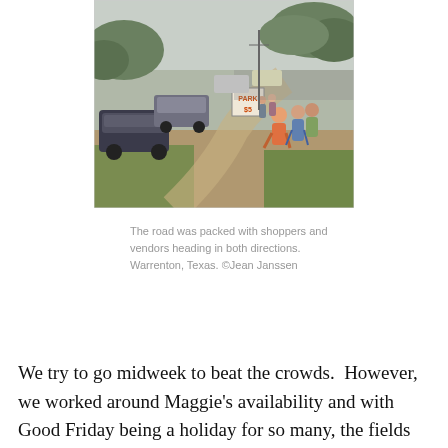[Figure (photo): A road packed with people walking and cars parked along the side, with a 'PARK $5' sign visible and trees in the background. Warrenton, Texas outdoor market/fair scene.]
The road was packed with shoppers and vendors heading in both directions. Warrenton, Texas. ©Jean Janssen
We try to go midweek to beat the crowds.  However, we worked around Maggie's availability and with Good Friday being a holiday for so many, the fields were full of people